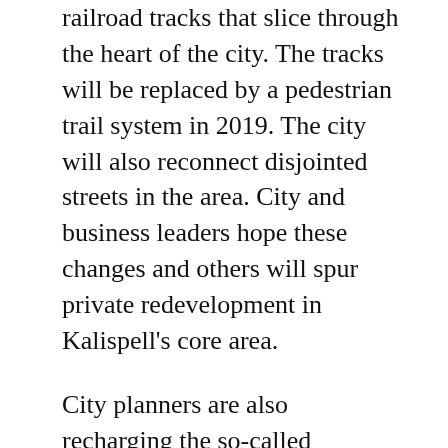railroad tracks that slice through the heart of the city. The tracks will be replaced by a pedestrian trail system in 2019. The city will also reconnect disjointed streets in the area. City and business leaders hope these changes and others will spur private redevelopment in Kalispell's core area.
City planners are also recharging the so-called Downtown Plan, a steering document established a few years ago with community input that targets goals in the historic heart of Kalispell. The city's planning board reviewed the draft document at its June 13th meeting, and the city is collecting new public input to ensure the plan meets all the goals for downtown.
“As the rail park and core area projects unfold, we